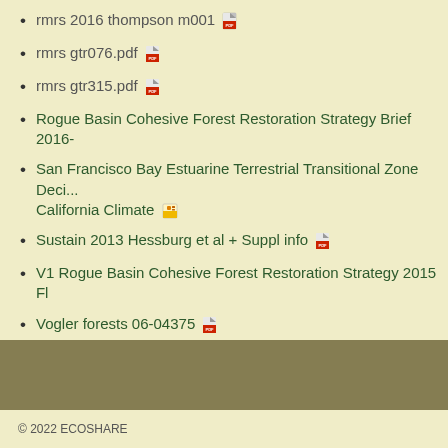rmrs 2016 thompson m001 [PDF]
rmrs gtr076.pdf [PDF]
rmrs gtr315.pdf [PDF]
Rogue Basin Cohesive Forest Restoration Strategy Brief 2016-
San Francisco Bay Estuarine Terrestrial Transitional Zone Deci... California Climate [PPT]
Sustain 2013 Hessburg et al + Suppl info [PDF]
V1 Rogue Basin Cohesive Forest Restoration Strategy 2015 Fl
Vogler forests 06-04375 [PDF]
WWETAC FIDAR bp [PDF]
© 2022 ECOSHARE